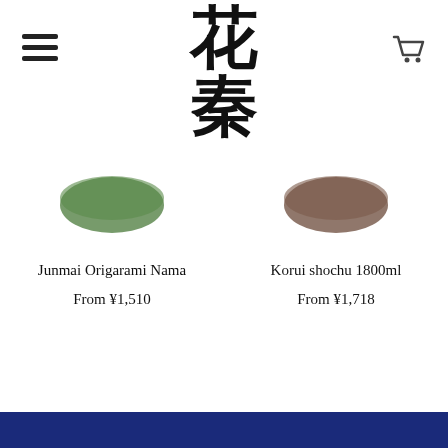花秦 (Japanese kanji logo with menu icon and cart icon)
[Figure (photo): Partially visible ceramic bowl, green colored, cropped at top left of product grid]
Junmai Origarami Nama
From ¥1,510
[Figure (photo): Partially visible ceramic bowl, brown colored, cropped at top right of product grid]
Korui shochu 1800ml
From ¥1,718